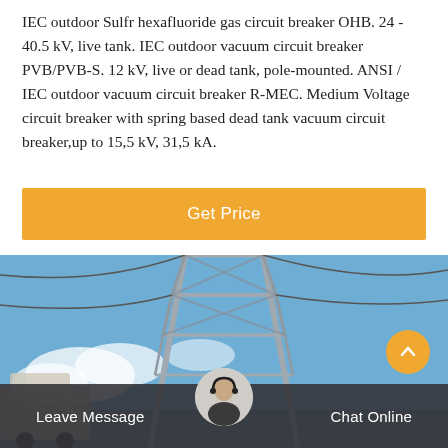IEC outdoor Sulfr hexafluoride gas circuit breaker OHB. 24 - 40.5 kV, live tank. IEC outdoor vacuum circuit breaker PVB/PVB-S. 12 kV, live or dead tank, pole-mounted. ANSI / IEC outdoor vacuum circuit breaker R-MEC. Medium Voltage circuit breaker with spring based dead tank vacuum circuit breaker,up to 15,5 kV, 31,5 kA.
[Figure (other): Button labeled 'Get Price' with orange background]
[Figure (photo): Outdoor electrical transmission tower/pylon against a blue sky with clouds, vehicles visible at lower left. Chat interface overlay at bottom with Leave Message and Chat Online buttons, and a customer service avatar.]